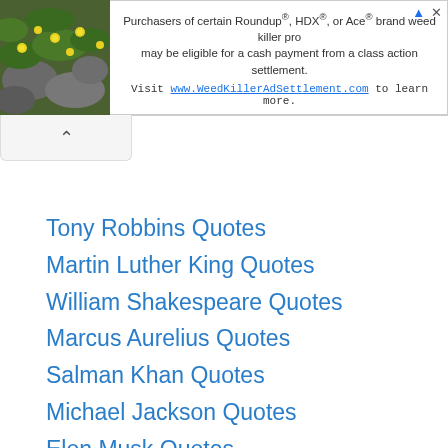[Figure (other): Advertisement banner with plant/flower image on left and text about Roundup/HDX/Ace weed killer class action settlement on right]
Tony Robbins Quotes
Martin Luther King Quotes
William Shakespeare Quotes
Marcus Aurelius Quotes
Salman Khan Quotes
Michael Jackson Quotes
Elon Musk Quotes
James Baldwin Quotes
Benjamin Franklin Quotes
Mike Tyson Quotes
John F Kennedy Quotes
Sachin Tendulkar Quotes